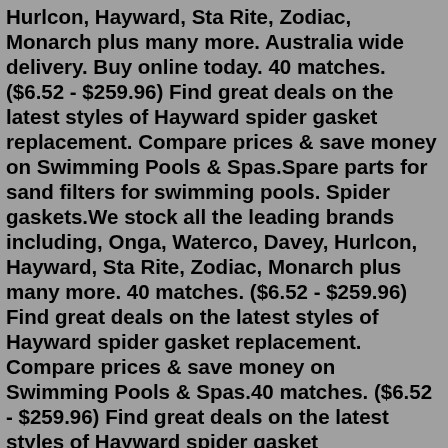Hurlcon, Hayward, Sta Rite, Zodiac, Monarch plus many more. Australia wide delivery. Buy online today. 40 matches. ($6.52 - $259.96) Find great deals on the latest styles of Hayward spider gasket replacement. Compare prices & save money on Swimming Pools & Spas.Spare parts for sand filters for swimming pools. Spider gaskets.We stock all the leading brands including, Onga, Waterco, Davey, Hurlcon, Hayward, Sta Rite, Zodiac, Monarch plus many more. 40 matches. ($6.52 - $259.96) Find great deals on the latest styles of Hayward spider gasket replacement. Compare prices & save money on Swimming Pools & Spas.40 matches. ($6.52 - $259.96) Find great deals on the latest styles of Hayward spider gasket replacement. Compare prices & save money on Swimming Pools & Spas.hayward 5-spoke spider gasket (after 1977) (spg-601-1113) Product # : SPG-601-1113 Mfg : SUPER-PRO NOOTO SX180HG Sand Filter Drain Cap and Gasket Replacement,fits for Hayward S180T, S210T, S220T, S311SX, S311SXV, S360SX Sand Filter. Features:    Waterway